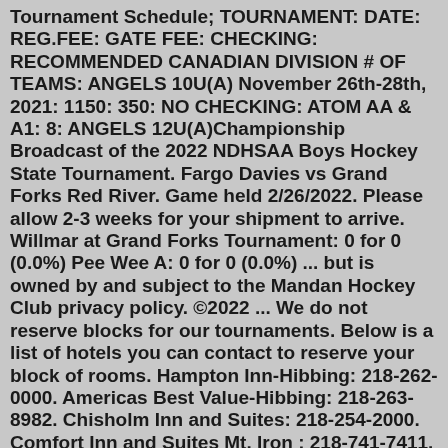Tournament Schedule; TOURNAMENT: DATE: REG.FEE: GATE FEE: CHECKING: RECOMMENDED CANADIAN DIVISION # OF TEAMS: ANGELS 10U(A) November 26th-28th, 2021: 1150: 350: NO CHECKING: ATOM AA & A1: 8: ANGELS 12U(A)Championship Broadcast of the 2022 NDHSAA Boys Hockey State Tournament. Fargo Davies vs Grand Forks Red River. Game held 2/26/2022. Please allow 2-3 weeks for your shipment to arrive. Willmar at Grand Forks Tournament: 0 for 0 (0.0%) Pee Wee A: 0 for 0 (0.0%) ... but is owned by and subject to the Mandan Hockey Club privacy policy. ©2022 ... We do not reserve blocks for our tournaments. Below is a list of hotels you can contact to reserve your block of rooms. Hampton Inn-Hibbing: 218-262-0000. Americas Best Value-Hibbing: 218-263-8982. Chisholm Inn and Suites: 218-254-2000. Comfort Inn and Suites Mt. Iron : 218-741-7411. Americinn-Mt. Iron: 218-741-9105. Graduating senior Ashton Calder has entered the transfer portal to look for somewhere to use his fifth